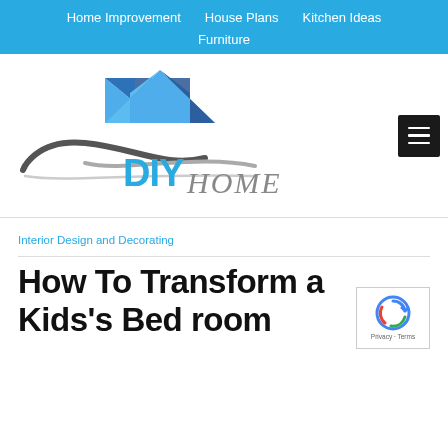Home Improvement   House Plans   Kitchen Ideas   Furniture
[Figure (logo): DIY Home logo with house icon and swoosh graphic, with hamburger menu button on the right]
Interior Design and Decorating
How To Transform a Kids's Bed room